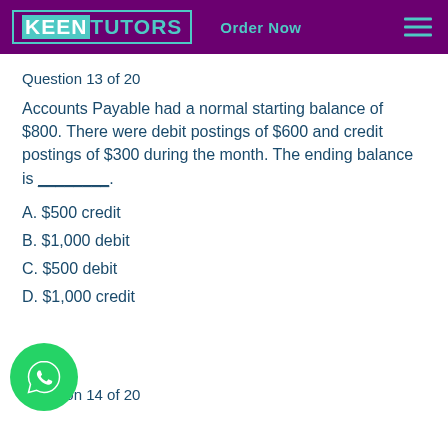KEEN TUTORS  Order Now
Question 13 of 20
Accounts Payable had a normal starting balance of $800. There were debit postings of $600 and credit postings of $300 during the month. The ending balance is ________.
A. $500 credit
B. $1,000 debit
C. $500 debit
D. $1,000 credit
Question 14 of 20